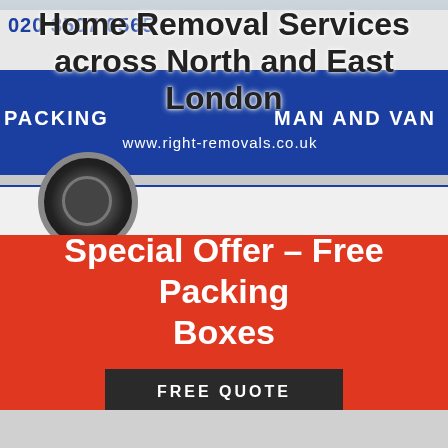[Figure (photo): A removal company van with blue stripe showing 'PACKING', 'MAN AND VAN', and website www.right-removals.co.uk, parked on a road]
Home Removal Services across North and East London
020 3507 0565
Special Offer – Free Packing Boxes
FREE QUOTE